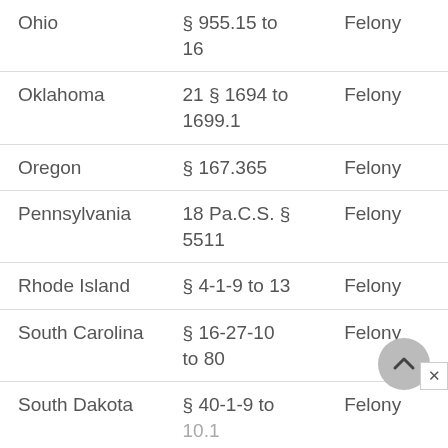| State | Statute | Classification |
| --- | --- | --- |
| Ohio | § 955.15 to 16 | Felony |
| Oklahoma | 21 § 1694 to 1699.1 | Felony |
| Oregon | § 167.365 | Felony |
| Pennsylvania | 18 Pa.C.S. § 5511 | Felony |
| Rhode Island | § 4-1-9 to 13 | Felony |
| South Carolina | § 16-27-10 to 80 | Felony |
| South Dakota | § 40-1-9 to 10.1 | Felony |
| Tennessee | § 39-14-203 | Felony |